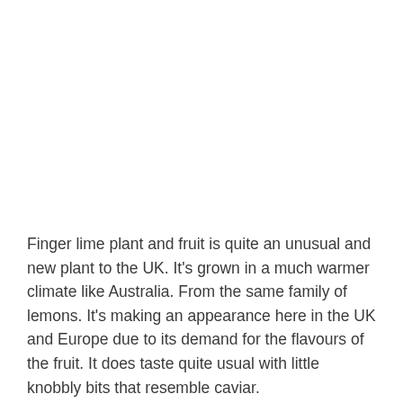Finger lime plant and fruit is quite an unusual and new plant to the UK. It's grown in a much warmer climate like Australia. From the same family of lemons. It's making an appearance here in the UK and Europe due to its demand for the flavours of the fruit. It does taste quite usual with little knobbly bits that resemble caviar.